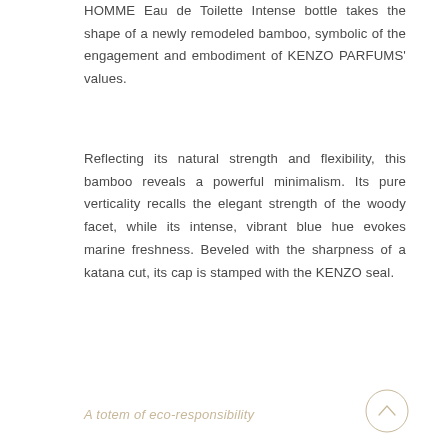HOMME Eau de Toilette Intense bottle takes the shape of a newly remodeled bamboo, symbolic of the engagement and embodiment of KENZO PARFUMS' values.
Reflecting its natural strength and flexibility, this bamboo reveals a powerful minimalism. Its pure verticality recalls the elegant strength of the woody facet, while its intense, vibrant blue hue evokes marine freshness. Beveled with the sharpness of a katana cut, its cap is stamped with the KENZO seal.
A totem of eco-responsibility